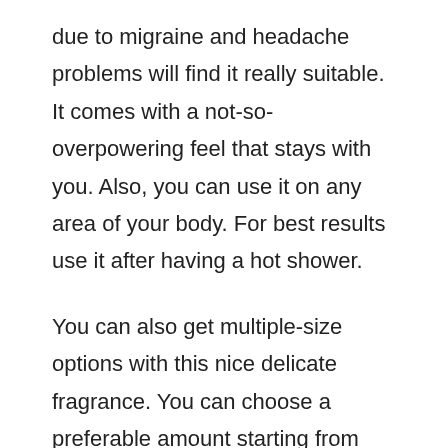due to migraine and headache problems will find it really suitable. It comes with a not-so-overpowering feel that stays with you. Also, you can use it on any area of your body. For best results use it after having a hot shower.
You can also get multiple-size options with this nice delicate fragrance. You can choose a preferable amount starting from 0.33 oz. to a 4 oz. Glass bottle version. This makes it easy to try and test for the first time and then decide on a bigger